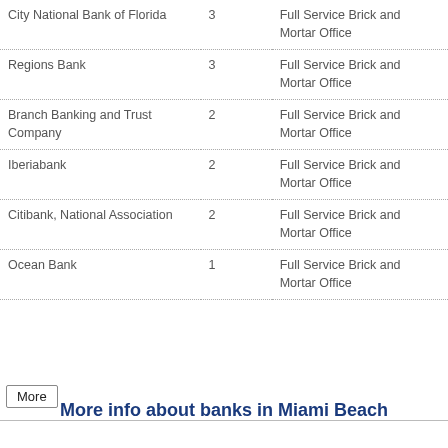| Bank Name | Count | Office Type |
| --- | --- | --- |
| City National Bank of Florida | 3 | Full Service Brick and Mortar Office |
| Regions Bank | 3 | Full Service Brick and Mortar Office |
| Branch Banking and Trust Company | 2 | Full Service Brick and Mortar Office |
| Iberiabank | 2 | Full Service Brick and Mortar Office |
| Citibank, National Association | 2 | Full Service Brick and Mortar Office |
| Ocean Bank | 1 | Full Service Brick and Mortar Office |
More
More info about banks in Miami Beach